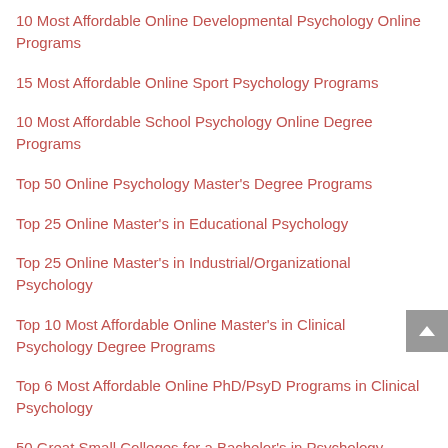10 Most Affordable Online Developmental Psychology Online Programs
15 Most Affordable Online Sport Psychology Programs
10 Most Affordable School Psychology Online Degree Programs
Top 50 Online Psychology Master's Degree Programs
Top 25 Online Master's in Educational Psychology
Top 25 Online Master's in Industrial/Organizational Psychology
Top 10 Most Affordable Online Master's in Clinical Psychology Degree Programs
Top 6 Most Affordable Online PhD/PsyD Programs in Clinical Psychology
50 Great Small Colleges for a Bachelor's in Psychology